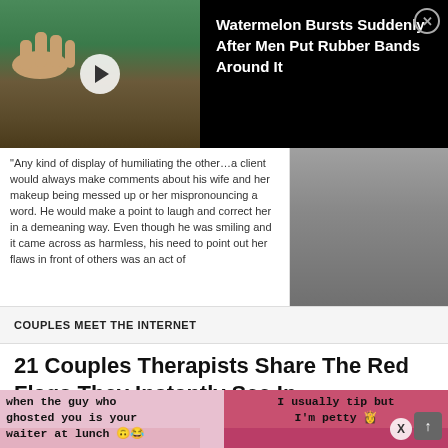[Figure (screenshot): Ad banner: video thumbnail of dock scene with play button on left; black background with text 'Watermelon Bursts Suddenly After Men Put Rubber Bands Around It' and close X button on right]
[Figure (screenshot): Article image: text quote about humiliating behavior on left, gray-toned person photo on right]
COUPLES MEET THE INTERNET
21 Couples Therapists Share The Red Flags They Instantly See In Relationships That Are Breaking Down
[Figure (screenshot): Two bottom images: left shows meme text 'when the guy who ghosted you is your waiter at lunch' with emojis on pink background; right shows 'I usually tip but I'm petty' with close and up-arrow buttons on red/pink background]